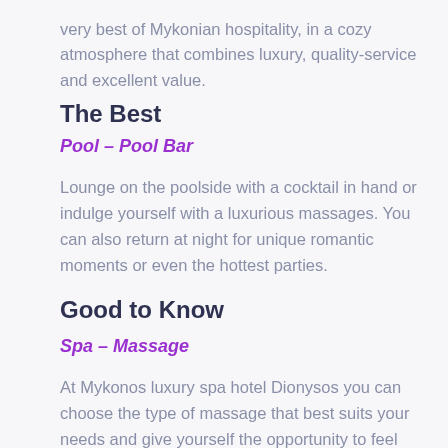very best of Mykonian hospitality, in a cozy atmosphere that combines luxury, quality-service and excellent value.
The Best
Pool – Pool Bar
Lounge on the poolside with a cocktail in hand or indulge yourself with a luxurious massages. You can also return at night for unique romantic moments or even the hottest parties.
Good to Know
Spa – Massage
At Mykonos luxury spa hotel Dionysos you can choose the type of massage that best suits your needs and give yourself the opportunity to feel euphoria while